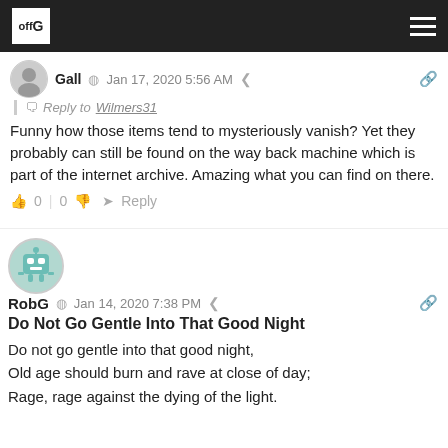offG [logo] [hamburger menu]
Gall  Jan 17, 2020 5:56 AM
Reply to Wilmers31
Funny how those items tend to mysteriously vanish? Yet they probably can still be found on the way back machine which is part of the internet archive. Amazing what you can find on there.
0 | 0  Reply
RobG  Jan 14, 2020 7:38 PM
Do Not Go Gentle Into That Good Night

Do not go gentle into that good night,
Old age should burn and rave at close of day;
Rage, rage against the dying of the light.